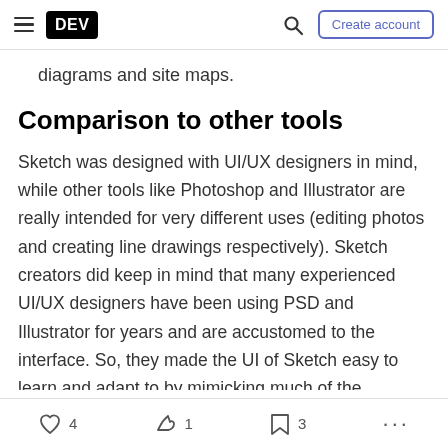DEV | Create account
diagrams and site maps.
Comparison to other tools
Sketch was designed with UI/UX designers in mind, while other tools like Photoshop and Illustrator are really intended for very different uses (editing photos and creating line drawings respectively). Sketch creators did keep in mind that many experienced UI/UX designers have been using PSD and Illustrator for years and are accustomed to the interface. So, they made the UI of Sketch easy to learn and adapt to by mimicking much of the
4  1  3  ...